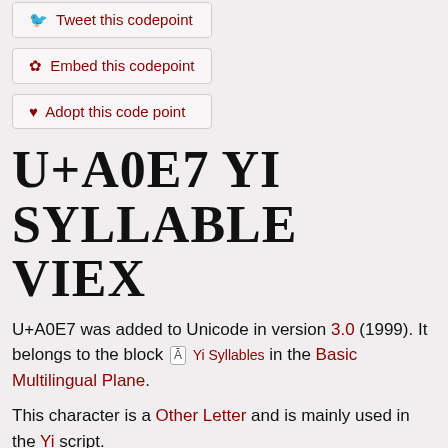Tweet this codepoint
Embed this codepoint
Adopt this code point
U+A0E7 YI SYLLABLE VIEX
U+A0E7 was added to Unicode in version 3.0 (1999). It belongs to the block Yi Syllables in the Basic Multilingual Plane.
This character is a Other Letter and is mainly used in the Yi script.
The glyph is not a composition. It has a Wide East Asian Width. In bidirectional context it acts as Left